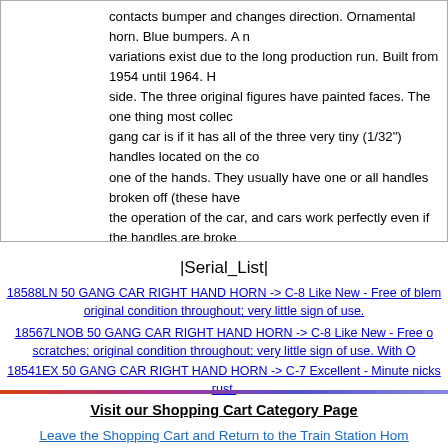contacts bumper and changes direction. Ornamental horn. Blue bumpers. A number of variations exist due to the long production run. Built from 1954 until 1964. H side. The three original figures have painted faces. The one thing most collectors look for in a gang car is if it has all of the three very tiny (1/32") handles located on the co one of the hands. They usually have one or all handles broken off (these have the operation of the car, and cars work perfectly even if the handles are broke
|Serial_List|
18588LN 50 GANG CAR RIGHT HAND HORN -> C-8 Like New - Free of blem original condition throughout; very little sign of use.
18567LNOB 50 GANG CAR RIGHT HAND HORN -> C-8 Like New - Free of scratches; original condition throughout; very little sign of use. With O
18541EX 50 GANG CAR RIGHT HAND HORN -> C-7 Excellent - Minute nicks rust.
18429EX 50 GANG CAR RIGHT HAND HORN -> C-7 Excellent - Minute nicks rust.
Visit our Shopping Cart Category Page
Leave the Shopping Cart and Return to the Train Station Home